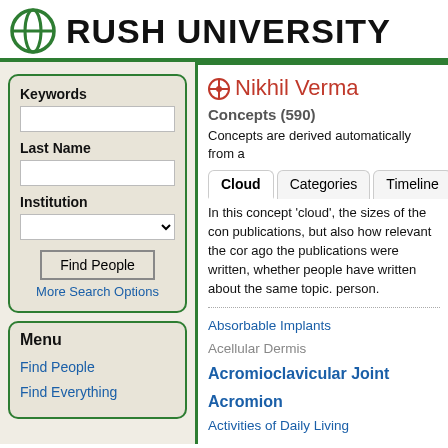RUSH UNIVERSITY
Keywords
Last Name
Institution
Find People
More Search Options
Menu
Find People
Find Everything
Nikhil Verma
Concepts (590)
Concepts are derived automatically from a
In this concept 'cloud', the sizes of the con publications, but also how relevant the cor ago the publications were written, whether people have written about the same topic. person.
Absorbable Implants
Acellular Dermis
Acromioclavicular Joint
Acromion
Activities of Daily Living
Acute Disease